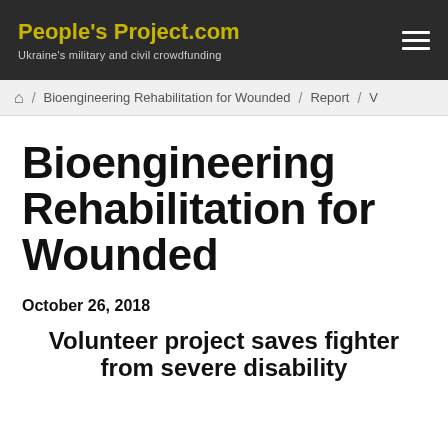People's Project.com — Ukraine's military and civil crowdfunding
🏠 / Bioengineering Rehabilitation for Wounded / Report / V…
Bioengineering Rehabilitation for Wounded
October 26, 2018
Volunteer project saves fighter from severe disability